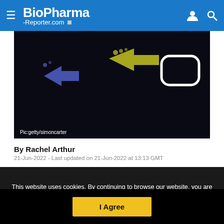BioPharma -Reporter.com
[Figure (photo): Dark background image with colored arrow graphics (blue and yellow arrows) suggesting data/digital flow. Credit: Pic:getty/simoncarter]
Pic:getty/simoncarter
By Rachel Arthur
21-Jun-2022 - Last updated on 21-Jun-2022 at 13:13 GMT
This website uses cookies. By continuing to browse our website, you are agreeing to our use of cookies. You can learn more about cookies by visiting our privacy & cookies policy page.
I Agree